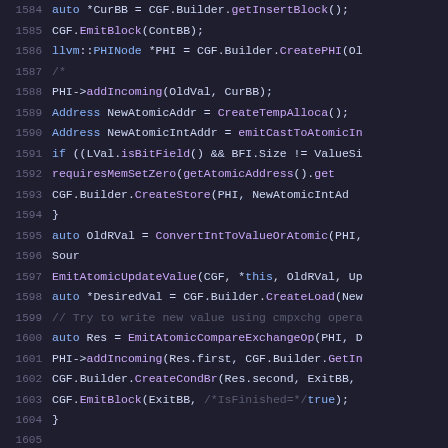[Figure (screenshot): Source code listing showing C++ code lines 1584–1605 with syntax highlighting on dark background. Code involves CGF Builder and PHI node operations for atomic compare-exchange.]